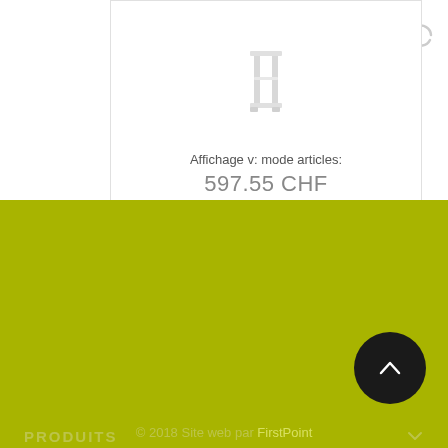[Figure (photo): White shelf/rack product image on white background]
Affichage v: mode articles:
597.55 CHF
PRODUITS
NOTRE SOCIÉTÉ
VOTRE COMPTE
INFORMATIONS
© 2018 Site web par FirstPoint